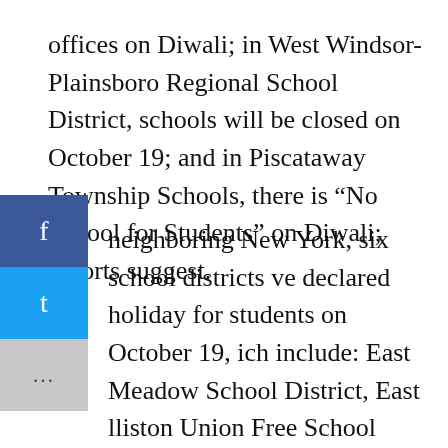offices on Diwali; in West Windsor-Plainsboro Regional School District, schools will be closed on October 19; and in Piscataway Township Schools, there is “No School for Students” on Diwali; reports suggest.
neighboring New York, six school districts ve declared holiday for students on October 19, ich include: East Meadow School District, East lliston Union Free School District, Half Hollow Hills Central School District, Herricks Union Free School District, Hicksville Union Free School District and Syosset Central School District. Another Mineola Union Free School District announced that no home work or examinations would be given on Diwali, reports add.